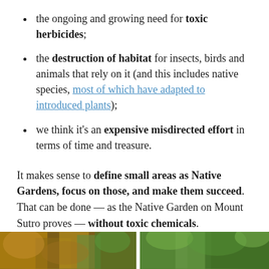the ongoing and growing need for toxic herbicides;
the destruction of habitat for insects, birds and animals that rely on it (and this includes native species, most of which have adapted to introduced plants);
we think it's an expensive misdirected effort in terms of time and treasure.
It makes sense to define small areas as Native Gardens, focus on those, and make them succeed. That can be done — as the Native Garden on Mount Sutro proves — without toxic chemicals.
[Figure (photo): Two outdoor nature/garden photos side by side at the bottom of the page, partially visible. Left photo shows warm autumn tones with brown and orange foliage. Right photo shows green tree canopy.]